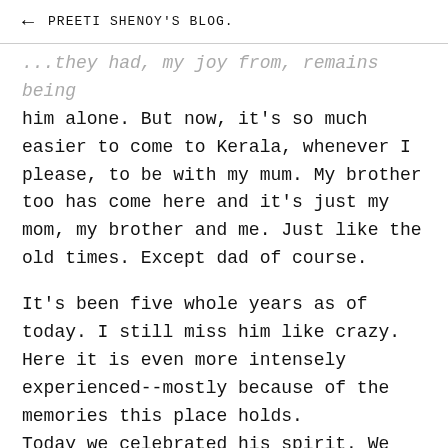← PREETI SHENOY'S BLOG.
...they had, my joy from, remains being him alone. But now, it's so much easier to come to Kerala, whenever I please, to be with my mum. My brother too has come here and it's just my mom, my brother and me. Just like the old times. Except dad of course.
It's been five whole years as of today. I still miss him like crazy.  Here it is even more intensely experienced--mostly because of the memories this place holds. Today we celebrated his spirit. We did all the things he loved to do. We walked on